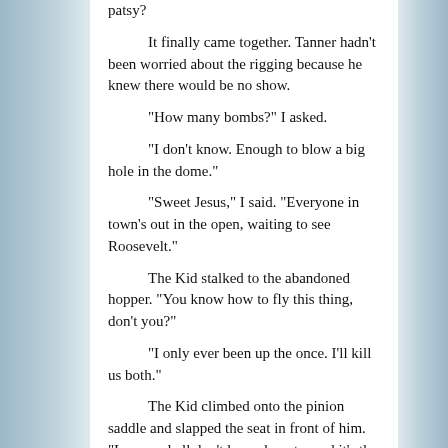patsy?

It finally came together. Tanner hadn't been worried about the rigging because he knew there would be no show.

"How many bombs?" I asked.

"I don't know. Enough to blow a big hole in the dome."

"Sweet Jesus," I said. "Everyone in town's out in the open, waiting to see Roosevelt."

The Kid stalked to the abandoned hopper. "You know how to fly this thing, don't you?"

"I only ever been up the once. I'll kill us both."

The Kid climbed onto the pinion saddle and slapped the seat in front of him. "I sure as hell don't know how to, and it's the only way we got to stop